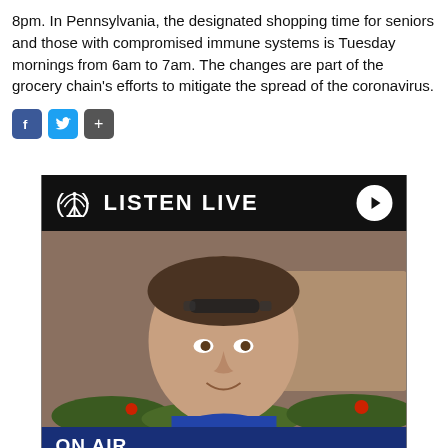8pm.  In Pennsylvania, the designated shopping time for seniors and those with compromised immune systems is Tuesday mornings from 6am to 7am.  The changes are part of the grocery chain's efforts to mitigate the spread of the coronavirus.
[Figure (screenshot): Social media share icons: Facebook (blue), Twitter (blue), and a plus/share button (gray)]
[Figure (screenshot): Listen Live widget showing a radio station player. Header: antenna icon and LISTEN LIVE text with play button. Photo of a man with sunglasses on his head. ON AIR bar showing Mid-Days with Mark Mac, 1:00 p.m. - 2:00 p.m. NOW playing: 'for those about to rock' by AC/DC. Partially visible next item.]